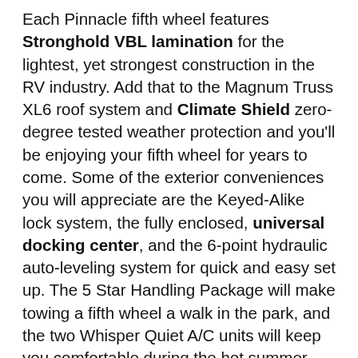Each Pinnacle fifth wheel features Stronghold VBL lamination for the lightest, yet strongest construction in the RV industry. Add that to the Magnum Truss XL6 roof system and Climate Shield zero-degree tested weather protection and you'll be enjoying your fifth wheel for years to come. Some of the exterior conveniences you will appreciate are the Keyed-Alike lock system, the fully enclosed, universal docking center, and the 6-point hydraulic auto-leveling system for quick and easy set up. The 5 Star Handling Package will make towing a fifth wheel a walk in the park, and the two Whisper Quiet A/C units will keep you comfortable during the hot summer months. Inside, you'll enjoy the farmhouse stainless steel sink, the handcrafted hardwood glazed cabinetry, the vinyl flooring throughout, plus many more comforts. There is even a central vacuum system, a wireless remote control system, USB